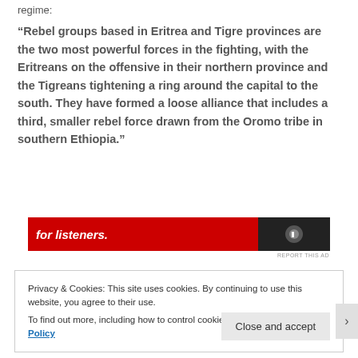regime:
“Rebel groups based in Eritrea and Tigre provinces are the two most powerful forces in the fighting, with the Eritreans on the offensive in their northern province and the Tigreans tightening a ring around the capital to the south. They have formed a loose alliance that includes a third, smaller rebel force drawn from the Oromo tribe in southern Ethiopia.”
[Figure (other): Red advertisement banner with white italic text 'for listeners.' and dark image on the right side]
REPORT THIS AD
Privacy & Cookies: This site uses cookies. By continuing to use this website, you agree to their use.
To find out more, including how to control cookies, see here: Cookie Policy
Close and accept